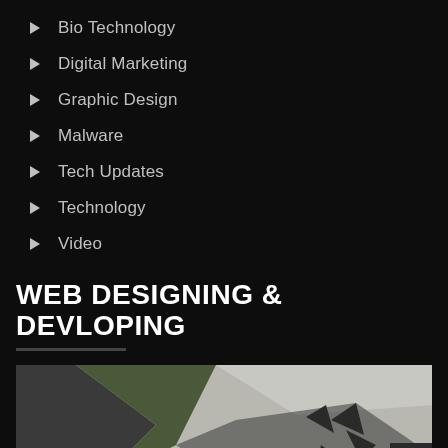Bio Technology
Digital Marketing
Graphic Design
Malware
Tech Updates
Technology
Video
WEB DESIGNING & DEVLOPING
[Figure (illustration): Abstract geometric design with dark grey, olive green, and light grey triangular shapes. A scroll-to-top double arrow button is visible in the bottom right corner.]